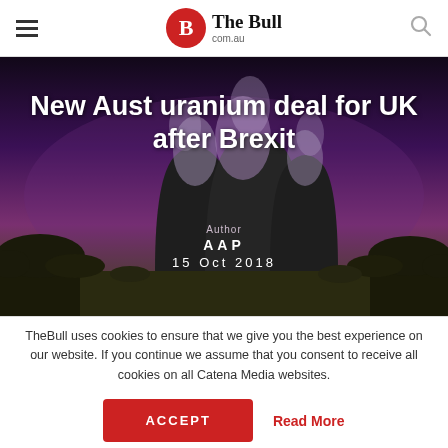The Bull com.au
[Figure (photo): Cooling towers of a nuclear/industrial plant with purple-tinged sky and smoke, used as hero image background]
New Aust uranium deal for UK after Brexit
Author
AAP
15 Oct 2018
TheBull uses cookies to ensure that we give you the best experience on our website. If you continue we assume that you consent to receive all cookies on all Catena Media websites.